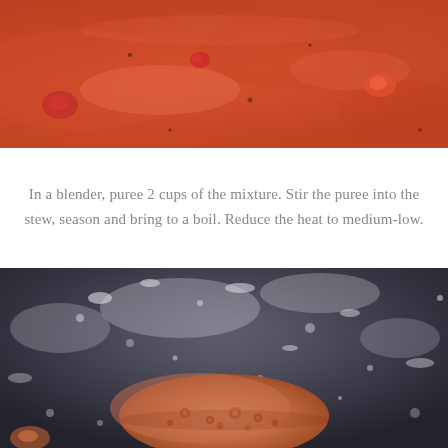[Figure (photo): Close-up photo of orange-red tomato soup or stew with visible chunks and liquid surface]
In a blender, puree 2 cups of the mixture. Stir the puree into the stew, season and bring to a boil. Reduce the heat to medium-low.
[Figure (photo): Close-up photo of a dark cooking pot with boiling stew, showing bubbling orange-brown liquid with salt/mineral deposits on the pot interior]